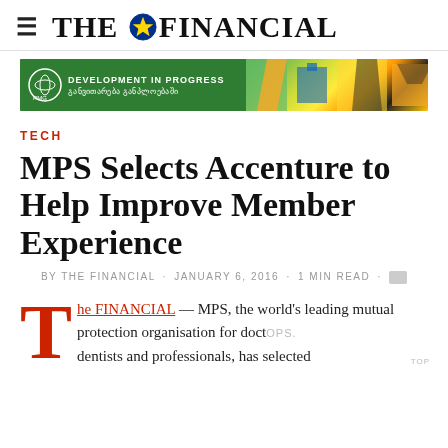THE FINANCIAL
[Figure (infographic): RMG banner ad: 'DEVELOPMENT IN PROGRESS' with Georgian text, green background on left, colorful construction/city imagery on right]
TECH
MPS Selects Accenture to Help Improve Member Experience
BY THE FINANCIAL · JANUARY 6, 2016 · 1 MIN READ
The FINANCIAL — MPS, the world's leading mutual protection organisation for doctors, dentists and professionals, has selected